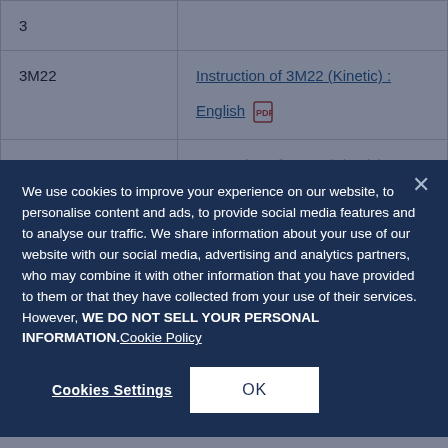| 3 |  |
| 3M22 | Instruction of 3M22 (Kinetic) : English [PDF] |
| 3M62 | Instruction of 3M62 (Kinetic) : |
We use cookies to improve your experience on our website, to personalise content and ads, to provide social media features and to analyse our traffic. We share information about your use of our website with our social media, advertising and analytics partners, who may combine it with other information that you have provided to them or that they have collected from your use of their services. However, WE DO NOT SELL YOUR PERSONAL INFORMATION.Cookie Policy